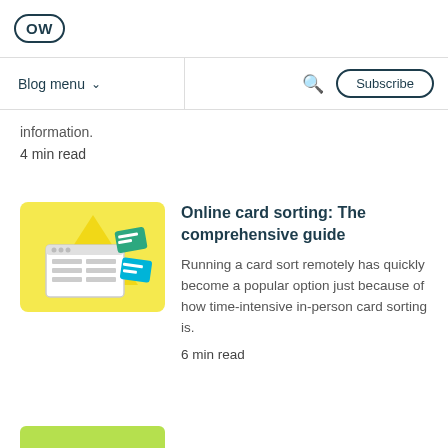OW logo and navigation bar with Blog menu, search, and Subscribe button
information.
4 min read
[Figure (illustration): Yellow background illustration showing a browser/table UI with card sorting elements including green triangle and teal/cyan card icons]
Online card sorting: The comprehensive guide
Running a card sort remotely has quickly become a popular option just because of how time-intensive in-person card sorting is.
6 min read